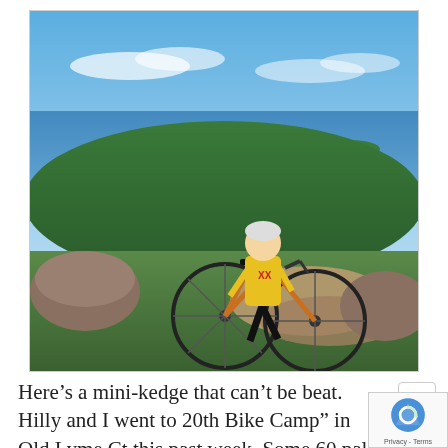[Figure (photo): A cyclist wearing a yellow XX cycling jersey and black shorts stands next to a road bicycle on a rocky overlook. The background shows a panoramic view of a large bay or lake with islands, surrounded by green hills, under a blue sky with light clouds.]
Here’s a mini-kedge that can’t be beat. Hilly and I went to 20th Bike Camp” in Old Lyme Ct this past week. Some 60 pals (of all ages and abilities from 20-year-old professional racers to me) got together for...